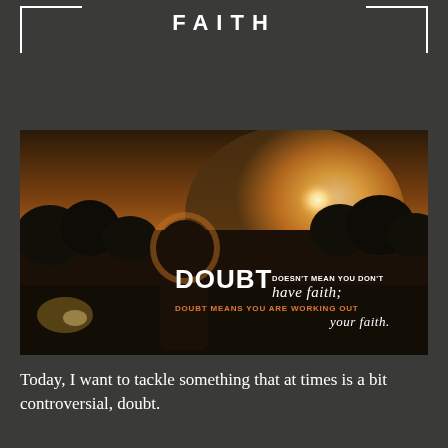FAITH
[Figure (photo): A woman seen from behind facing a bright sunset over trees, with an inspirational quote overlaid: 'DOUBT DOESN'T MEAN YOU DON'T have faith; DOUBT MEANS YOU ARE WORKING OUT your faith.']
Today, I want to tackle something that at times is a bit controversial, doubt.